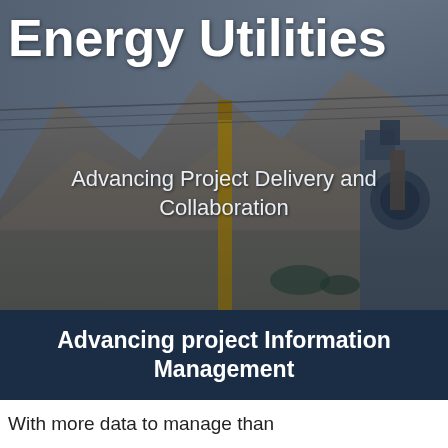[Figure (photo): Background photo of energy utility infrastructure including a yellow pole/tower and electrical equipment with mountainous landscape in the background, with dark blue overlay]
Energy Utilities
Advancing Project Delivery and Collaboration
Advancing project Information Management
With more data to manage than